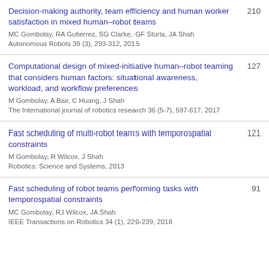Decision-making authority, team efficiency and human worker satisfaction in mixed human–robot teams
MC Gombolay, RA Gutierrez, SG Clarke, GF Sturla, JA Shah
Autonomous Robots 39 (3), 293-312, 2015
210
Computational design of mixed-initiative human–robot teaming that considers human factors: situational awareness, workload, and workflow preferences
M Gombolay, A Bair, C Huang, J Shah
The International journal of robotics research 36 (5-7), 597-617, 2017
127
Fast scheduling of multi-robot teams with temporospatial constraints
M Gombolay, R Wilcox, J Shah
Robotics: Science and Systems, 2013
121
Fast scheduling of robot teams performing tasks with temporospatial constraints
MC Gombolay, RJ Wilcox, JA Shah
IEEE Transactions on Robotics 34 (1), 220-239, 2018
91